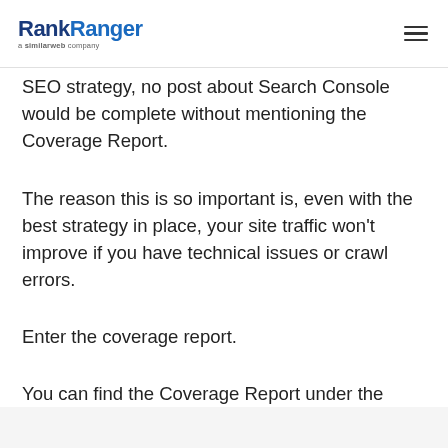RankRanger — a similarweb company
SEO strategy, no post about Search Console would be complete without mentioning the Coverage Report.
The reason this is so important is, even with the best strategy in place, your site traffic won't improve if you have technical issues or crawl errors.
Enter the coverage report.
You can find the Coverage Report under the